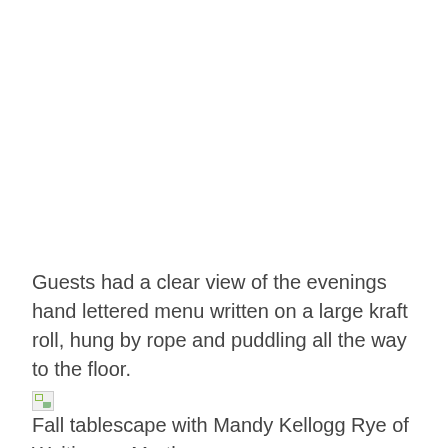Guests had a clear view of the evenings hand lettered menu written on a large kraft roll, hung by rope and puddling all the way to the floor.
Fall tablescape with Mandy Kellogg Rye of Waiting on Martha